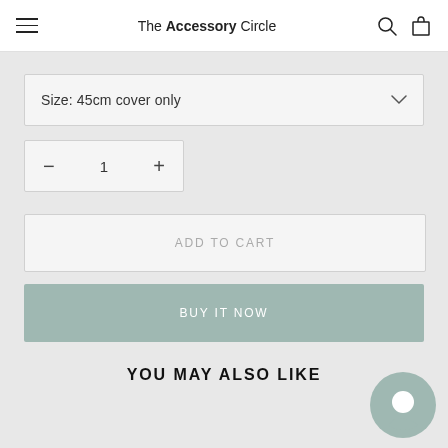The Accessory Circle
Size: 45cm cover only
− 1 +
ADD TO CART
BUY IT NOW
YOU MAY ALSO LIKE